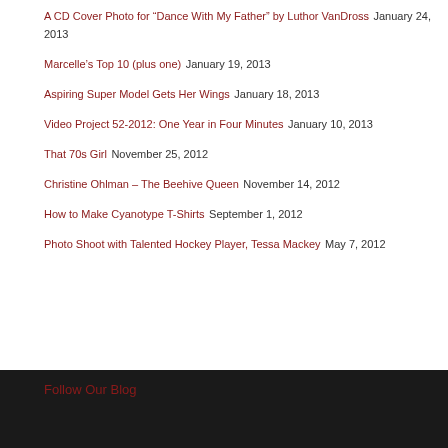A CD Cover Photo for “Dance With My Father” by Luthor VanDross January 24, 2013
Marcelle’s Top 10 (plus one) January 19, 2013
Aspiring Super Model Gets Her Wings January 18, 2013
Video Project 52-2012: One Year in Four Minutes January 10, 2013
That 70s Girl November 25, 2012
Christine Ohlman – The Beehive Queen November 14, 2012
How to Make Cyanotype T-Shirts September 1, 2012
Photo Shoot with Talented Hockey Player, Tessa Mackey May 7, 2012
Follow Our Blog